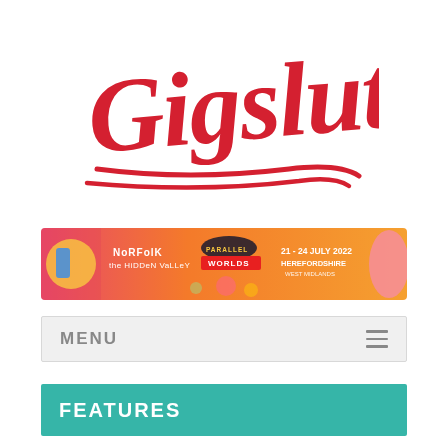[Figure (logo): Gigslutz logo in red cursive/script lettering with underline strokes]
[Figure (infographic): Festival banner advertisement: Norfolk Hidden Valley, Parallel Worlds, 21-24 July 2022, Herefordshire, West Midlands. Pink and orange gradient background with festival imagery including flamingo and cartoon character.]
MENU
FEATURES